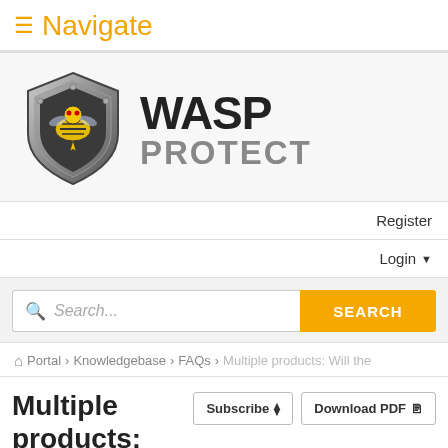≡ Navigate
[Figure (logo): WASP PROTECT logo with shield icon featuring a wasp, and bold text 'WASP PROTECT']
Register
Login ▾
Search...
Portal › Knowledgebase › FAQs › Multiple products: Will the
Multiple products: Will the mobile
Subscribe
Download PDF